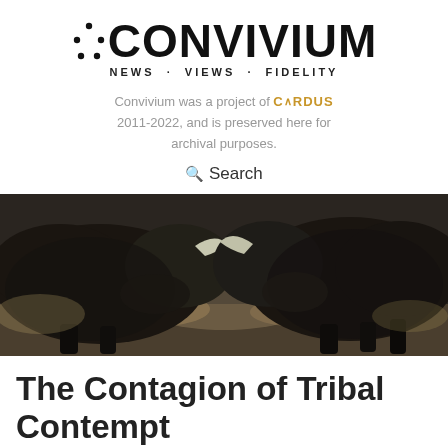CONVIVIUM NEWS · VIEWS · FIDELITY
Convivium was a project of CARDUS 2011-2022, and is preserved here for archival purposes.
Search
[Figure (photo): Two bison butting heads against a dusty background, close-up showing their dark fur, horns, and the dirt ground.]
The Contagion of Tribal Contempt